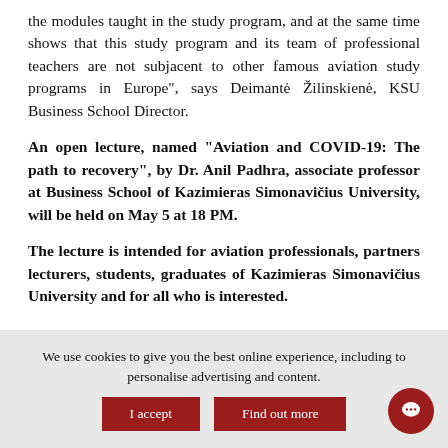the modules taught in the study program, and at the same time shows that this study program and its team of professional teachers are not subjacent to other famous aviation study programs in Europe”, says Deimantė Žilinskienė, KSU Business School Director.
An open lecture, named “Aviation and COVID-19: The path to recovery”, by Dr. Anil Padhra, associate professor at Business School of Kazimieras Simonavičius University, will be held on May 5 at 18 PM.
The lecture is intended for aviation professionals, partners lecturers, students, graduates of Kazimieras Simonavičius University and for all who is interested.
We use cookies to give you the best online experience, including to personalise advertising and content.